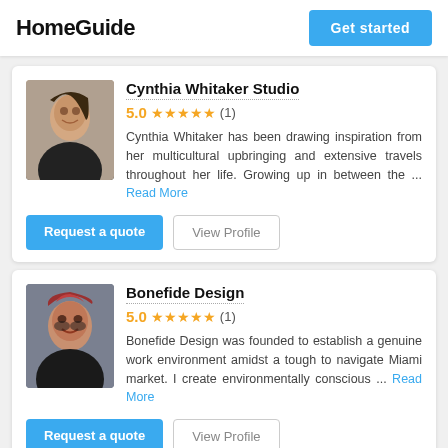HomeGuide | Get started
Cynthia Whitaker Studio
5.0 ★★★★★ (1)
Cynthia Whitaker has been drawing inspiration from her multicultural upbringing and extensive travels throughout her life. Growing up in between the ... Read More
Request a quote | View Profile
Bonefide Design
5.0 ★★★★★ (1)
Bonefide Design was founded to establish a genuine work environment amidst a tough to navigate Miami market. I create environmentally conscious ... Read More